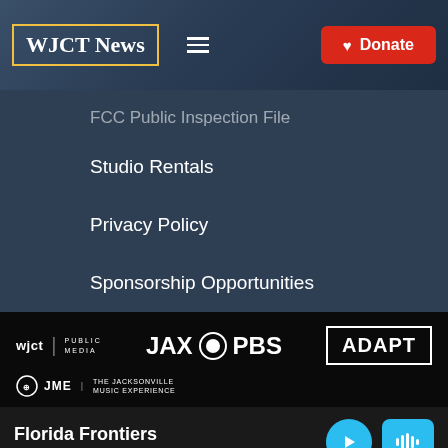[Figure (screenshot): WJCT News website header with logo in yellow border, hamburger menu, and red Donate button]
FCC Public Inspection File
Studio Rentals
Privacy Policy
Sponsorship Opportunities
[Figure (logo): Footer logos: wjct PUBLIC MEDIA, JAX PBS, ADAPT, JME THE JACKSONVILLE MUSIC EXPERIENCE]
Florida Frontiers WJCT News 89.9